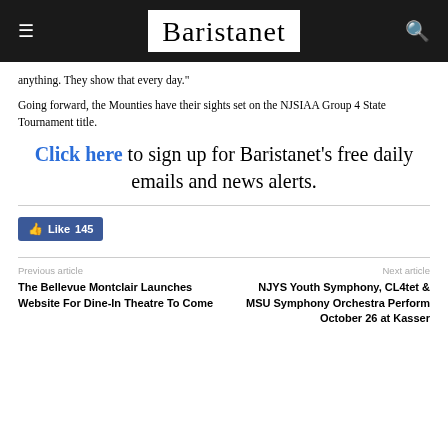Baristanet
anything. They show that every day."
Going forward, the Mounties have their sights set on the NJSIAA Group 4 State Tournament title.
Click here to sign up for Baristanet's free daily emails and news alerts.
Like 145
Previous article
The Bellevue Montclair Launches Website For Dine-In Theatre To Come
Next article
NJYS Youth Symphony, CL4tet & MSU Symphony Orchestra Perform October 26 at Kasser